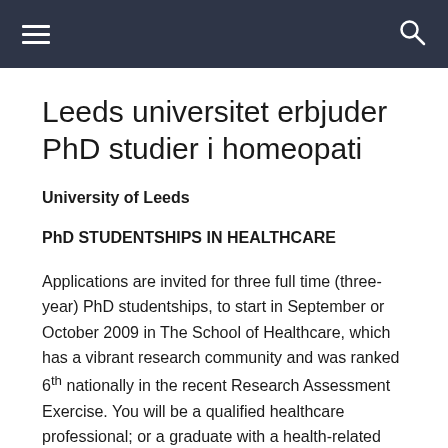≡  🔍
Leeds universitet erbjuder PhD studier i homeopati
University of Leeds
PhD STUDENTSHIPS IN HEALTHCARE
Applications are invited for three full time (three-year) PhD studentships, to start in September or October 2009 in The School of Healthcare, which has a vibrant research community and was ranked 6th nationally in the recent Research Assessment Exercise. You will be a qualified healthcare professional; or a graduate with a health-related degree (or anticipated to graduate this summer). You will